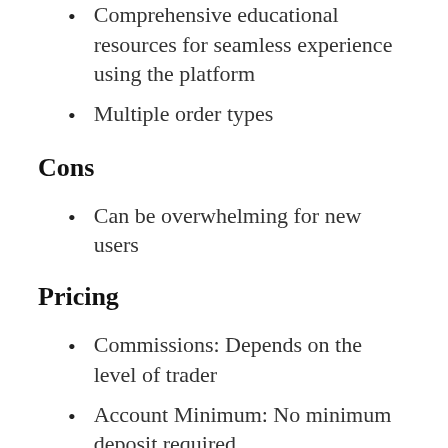Comprehensive educational resources for seamless experience using the platform
Multiple order types
Cons
Can be overwhelming for new users
Pricing
Commissions: Depends on the level of trader
Account Minimum: No minimum deposit required